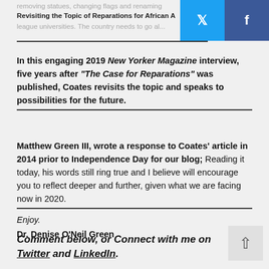removing statues, changing flags and renaming...
Revisiting the Topic of Reparations for African A
league universities. The country needs to go al...
In this engaging 2019 New Yorker Magazine interview, five years after “The Case for Reparations” was published, Coates revisits the topic and speaks to possibilities for the future.
Matthew Green III, wrote a response to Coates’ article in 2014 prior to Independence Day for our blog; Reading it today, his words still ring true and I believe will encourage you to reflect deeper and further, given what we are facing now in 2020.
Enjoy.
Dr. Denise O’Neil Green
Comment below, or Connect with me on Twitter and LinkedIn.